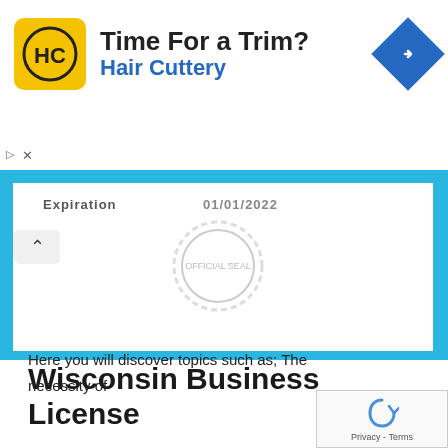[Figure (infographic): Advertisement banner for Hair Cuttery with yellow logo, 'Time For a Trim?' headline, blue navigation arrow icon, and close button]
[Figure (other): Partial view of a Wisconsin business license certificate with blue border, showing 'Expiration' label and a circular seal stamp]
Wisconsin Business License
Thinking of starting your business in Wisconsin? You must be aware of the state requirements to work legally in the state. Don't worry; we know that dealing with tons of paperwork can be frustrating especially when you don't know where to start. We carefully researched and gathered all the needed information when establishing your business in Wisconsin.
Here you will discover topics such as; The necessity of